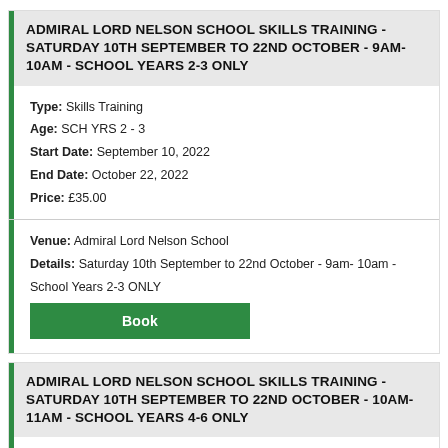ADMIRAL LORD NELSON SCHOOL SKILLS TRAINING - SATURDAY 10TH SEPTEMBER TO 22ND OCTOBER - 9AM-10AM - SCHOOL YEARS 2-3 ONLY
Type: Skills Training
Age: SCH YRS 2 - 3
Start Date: September 10, 2022
End Date: October 22, 2022
Price: £35.00
Venue: Admiral Lord Nelson School
Details: Saturday 10th September to 22nd October - 9am- 10am - School Years 2-3 ONLY
ADMIRAL LORD NELSON SCHOOL SKILLS TRAINING - SATURDAY 10TH SEPTEMBER TO 22ND OCTOBER - 10AM- 11AM - SCHOOL YEARS 4-6 ONLY
Type: Skills Training
Age: Sch Yrs 4 - 6
Start Date: September 10, 2022